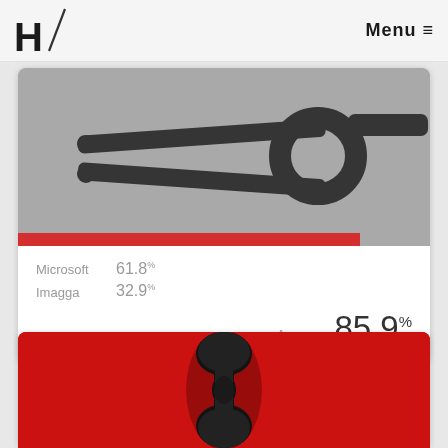H / Menu ≡
[Figure (photo): Close-up photograph of an antique metal tool (pliers/tongs) on a grey background, with a red bar at the bottom left.]
Microsoft  61.8%
Imagga    32.9%
Amazon  85.9%
[Figure (photo): Close-up photograph of a dark metal hourglass-shaped object on a bright red background.]